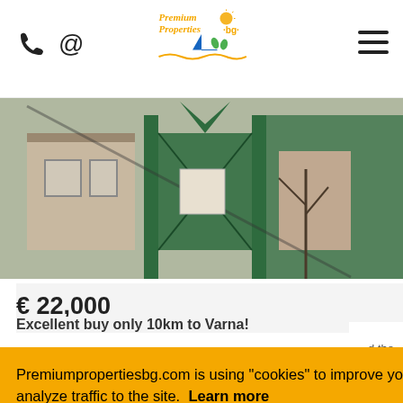Premium Properties BG logo with phone and email icons, and hamburger menu
[Figure (photo): Property photo showing a green metal gate and fence in front of a brick house, bare trees visible in winter]
€ 22,000
Excellent buy only 10km to Varna!
d the
Premiumpropertiesbg.com is using "cookies" to improve your experience and analyze traffic to the site. Learn more
Ok!
[Figure (photo): Bottom strip of another property photo, partially visible]